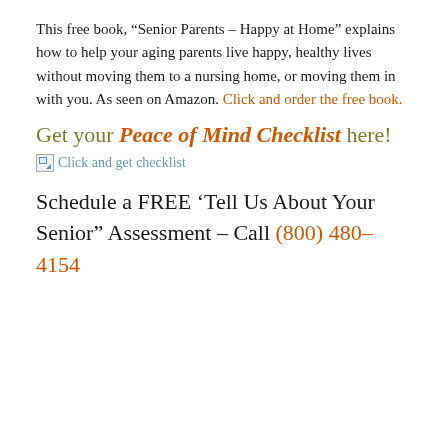This free book, “Senior Parents – Happy at Home” explains how to help your aging parents live happy, healthy lives without moving them to a nursing home, or moving them in with you. As seen on Amazon. Click and order the free book.
Get your Peace of Mind Checklist here!
[Figure (other): Broken image icon followed by orange link text: Click and get checklist]
Schedule a FREE ‘Tell Us About Your Senior” Assessment – Call (800) 480-4154